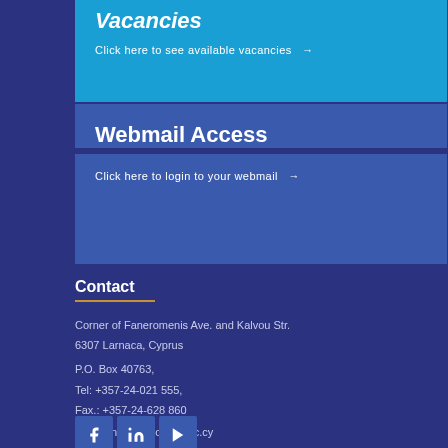Vacancies
Click here to see available vacancies →
Webmail Access
Click here to login to your webmail →
Contact
Corner of Faneromenis Ave. and Kalvou Str.
6307 Larnaca, Cyprus
P.O. Box 40763,
Tel: +357-24-021 555,
Fax.: +357-24-628 860
Email: info@pacollege.ac.cy
[Figure (infographic): Three social media icons: Facebook, LinkedIn, YouTube]